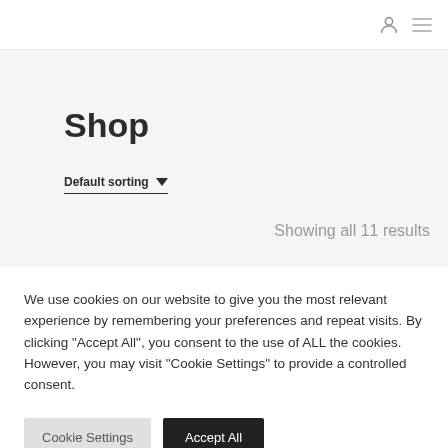Shop
Default sorting ▾
Showing all 11 results
We use cookies on our website to give you the most relevant experience by remembering your preferences and repeat visits. By clicking "Accept All", you consent to the use of ALL the cookies. However, you may visit "Cookie Settings" to provide a controlled consent.
Cookie Settings | Accept All